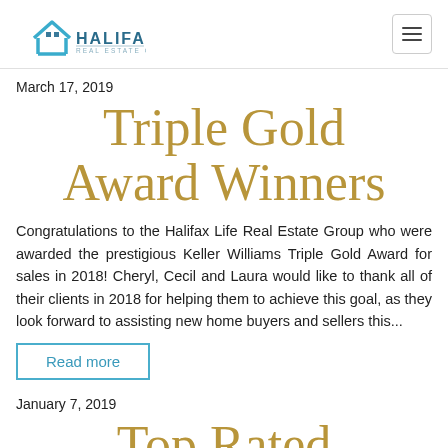HALIFAX LIFE REAL ESTATE CONSULTANT
March 17, 2019
Triple Gold Award Winners
Congratulations to the Halifax Life Real Estate Group who were awarded the prestigious Keller Williams Triple Gold Award for sales in 2018! Cheryl, Cecil and Laura would like to thank all of their clients in 2018 for helping them to achieve this goal, as they look forward to assisting new home buyers and sellers this...
Read more
January 7, 2019
Top Rated